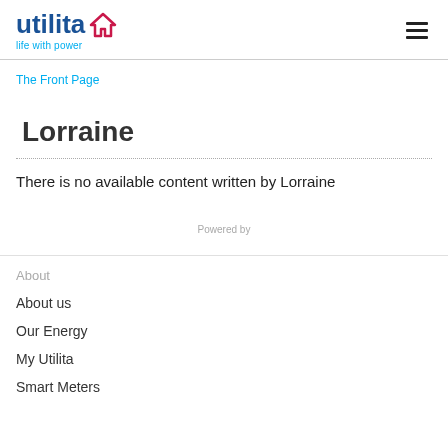utilita life with power
The Front Page
Lorraine
There is no available content written by Lorraine
Powered by
About
About us
Our Energy
My Utilita
Smart Meters